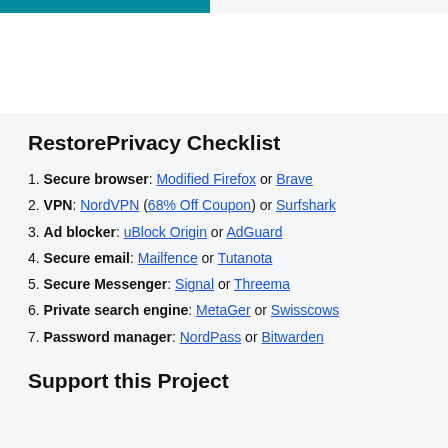RestorePrivacy Checklist
Secure browser: Modified Firefox or Brave
VPN: NordVPN (68% Off Coupon) or Surfshark
Ad blocker: uBlock Origin or AdGuard
Secure email: Mailfence or Tutanota
Secure Messenger: Signal or Threema
Private search engine: MetaGer or Swisscows
Password manager: NordPass or Bitwarden
Support this Project